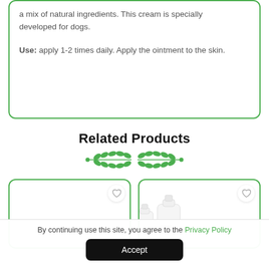a mix of natural ingredients. This cream is specially developed for dogs.
Use: apply 1-2 times daily. Apply the ointment to the skin.
Related Products
[Figure (illustration): Decorative green leaf/branch divider ornament]
[Figure (photo): Product card with heart icon (empty card, left)]
[Figure (photo): Product card with two white bottles labeled ROPA and heart icon (right)]
By continuing use this site, you agree to the Privacy Policy
Accept